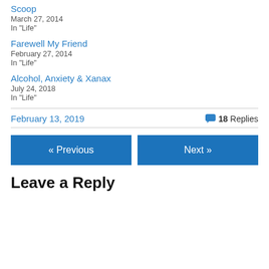Scoop
March 27, 2014
In "Life"
Farewell My Friend
February 27, 2014
In "Life"
Alcohol, Anxiety & Xanax
July 24, 2018
In "Life"
February 13, 2019
18 Replies
« Previous
Next »
Leave a Reply